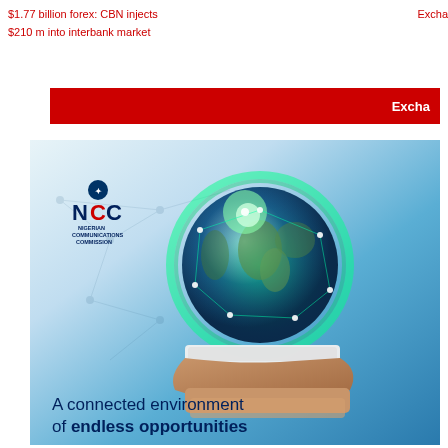$1.77 billion forex: CBN injects $210 m into interbank market
Excha
[Figure (advertisement): NCC (Nigerian Communications Commission) advertisement showing a glowing globe with network connections held on a hand, with tagline 'A connected environment of endless opportunities']